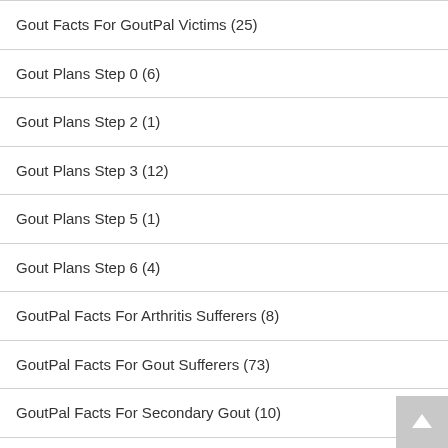Gout Facts For GoutPal Victims (25)
Gout Plans Step 0 (6)
Gout Plans Step 2 (1)
Gout Plans Step 3 (12)
Gout Plans Step 5 (1)
Gout Plans Step 6 (4)
GoutPal Facts For Arthritis Sufferers (8)
GoutPal Facts For Gout Sufferers (73)
GoutPal Facts For Secondary Gout (10)
Uric Acid (24)